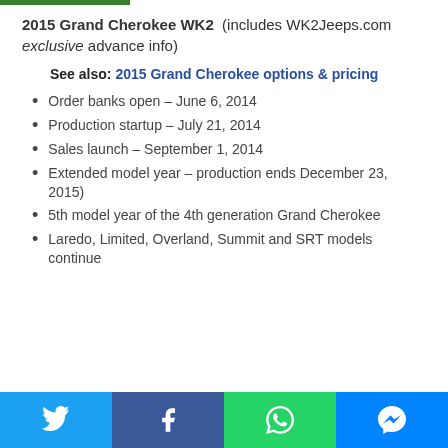2015 Grand Cherokee WK2 (includes WK2Jeeps.com exclusive advance info)
See also: 2015 Grand Cherokee options & pricing
Order banks open – June 6, 2014
Production startup – July 21, 2014
Sales launch – September 1, 2014
Extended model year – production ends December 23, 2015)
5th model year of the 4th generation Grand Cherokee
Laredo, Limited, Overland, Summit and SRT models continue
Social share bar: Twitter, Facebook, WhatsApp, Messenger